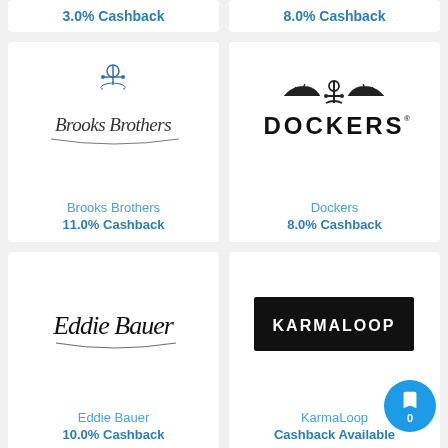3.0% Cashback
8.0% Cashback
[Figure (logo): Brooks Brothers script logo with anchor emblem]
Brooks Brothers
11.0% Cashback
[Figure (logo): Dockers logo with anchor and wings]
Dockers
8.0% Cashback
[Figure (logo): Eddie Bauer script logo]
Eddie Bauer
10.0% Cashback
[Figure (logo): KarmaLoop logo white text on black rectangle]
KarmaLoop
Cashback Available